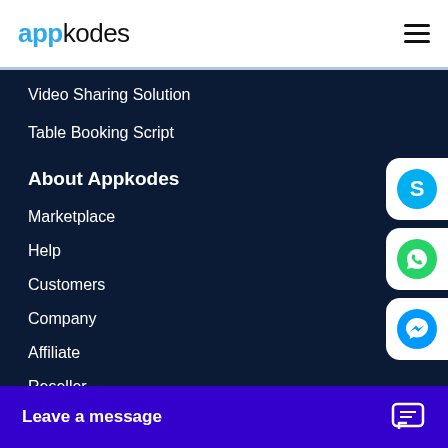appkodes
Video Sharing Solution
Table Booking Script
About Appkodes
Marketplace
Help
Customers
Company
Affiliate
Reseller
Blog
[Figure (logo): Skype icon button on right side]
[Figure (logo): WhatsApp icon button on right side]
[Figure (logo): Facebook Messenger icon button on right side]
Leave a message